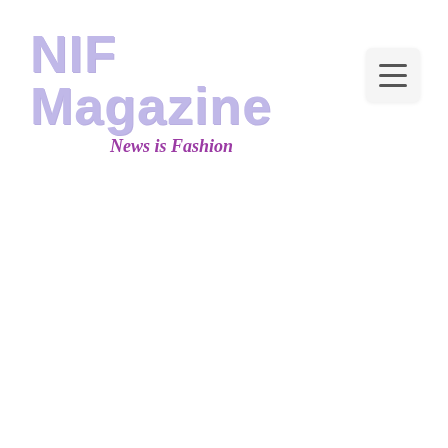[Figure (logo): NIF Magazine logo with large light purple bold text reading 'NIF Magazine' and italic subtitle 'News is Fashion' in dark purple below and to the right]
[Figure (other): Hamburger menu button - three horizontal lines icon on a light gray rounded rectangle background, positioned in upper right corner]